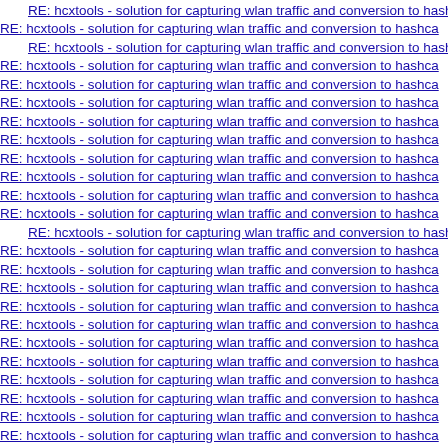RE: hcxtools - solution for capturing wlan traffic and conversion to hash
RE: hcxtools - solution for capturing wlan traffic and conversion to hashca
RE: hcxtools - solution for capturing wlan traffic and conversion to hash
RE: hcxtools - solution for capturing wlan traffic and conversion to hashca
RE: hcxtools - solution for capturing wlan traffic and conversion to hashca
RE: hcxtools - solution for capturing wlan traffic and conversion to hashca
RE: hcxtools - solution for capturing wlan traffic and conversion to hashca
RE: hcxtools - solution for capturing wlan traffic and conversion to hashca
RE: hcxtools - solution for capturing wlan traffic and conversion to hashca
RE: hcxtools - solution for capturing wlan traffic and conversion to hashca
RE: hcxtools - solution for capturing wlan traffic and conversion to hashca
RE: hcxtools - solution for capturing wlan traffic and conversion to hashca
RE: hcxtools - solution for capturing wlan traffic and conversion to hash
RE: hcxtools - solution for capturing wlan traffic and conversion to hashca
RE: hcxtools - solution for capturing wlan traffic and conversion to hashca
RE: hcxtools - solution for capturing wlan traffic and conversion to hashca
RE: hcxtools - solution for capturing wlan traffic and conversion to hashca
RE: hcxtools - solution for capturing wlan traffic and conversion to hashca
RE: hcxtools - solution for capturing wlan traffic and conversion to hashca
RE: hcxtools - solution for capturing wlan traffic and conversion to hashca
RE: hcxtools - solution for capturing wlan traffic and conversion to hashca
RE: hcxtools - solution for capturing wlan traffic and conversion to hashca
RE: hcxtools - solution for capturing wlan traffic and conversion to hashca
RE: hcxtools - solution for capturing wlan traffic and conversion to hashca
RE: hcxtools - solution for capturing wlan traffic and conversion to hashca
RE: hcxtools - solution for capturing wlan traffic and conversion to hashca
RE: hcxtools - solution for capturing wlan traffic and conversion to hashca
RE: hcxtools - solution for capturing wlan traffic and conversion to hashca